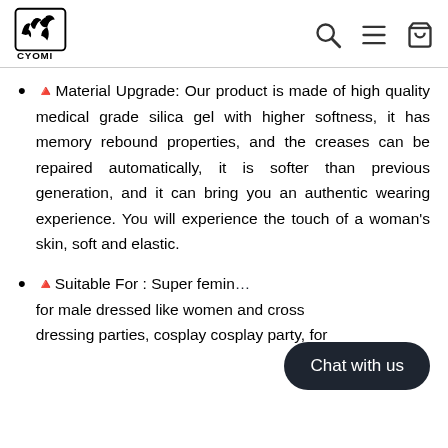CYOMI
🔺Material Upgrade: Our product is made of high quality medical grade silica gel with higher softness, it has memory rebound properties, and the creases can be repaired automatically, it is softer than previous generation, and it can bring you an authentic wearing experience. You will experience the touch of a woman's skin, soft and elastic.
🔺Suitable For : Super femin... for male dressed like women and cross dressing parties, cosplay cosplay party, for